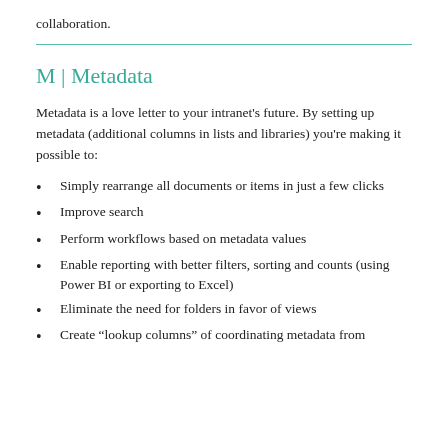collaboration.
M | Metadata
Metadata is a love letter to your intranet's future. By setting up metadata (additional columns in lists and libraries) you're making it possible to:
Simply rearrange all documents or items in just a few clicks
Improve search
Perform workflows based on metadata values
Enable reporting with better filters, sorting and counts (using Power BI or exporting to Excel)
Eliminate the need for folders in favor of views
Create “lookup columns” of coordinating metadata from other lists for richer item records